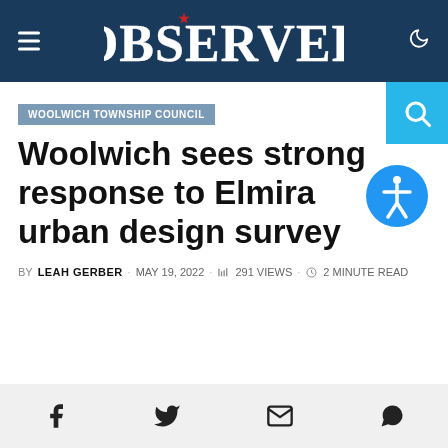OBSERVER
WOOLWICH TOWNSHIP COUNCIL
Woolwich sees strong response to Elmira urban design survey
BY LEAH GERBER · MAY 19, 2022 · 291 VIEWS · 2 MINUTE READ